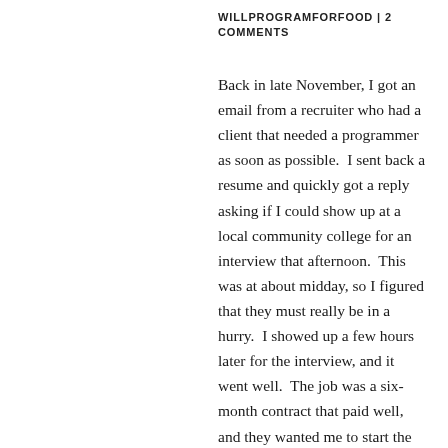WILLPROGRAMFORFOOD | 2 COMMENTS
Back in late November, I got an email from a recruiter who had a client that needed a programmer as soon as possible.  I sent back a resume and quickly got a reply asking if I could show up at a local community college for an interview that afternoon.  This was at about midday, so I figured that they must really be in a hurry.  I showed up a few hours later for the interview, and it went well.  The job was a six-month contract that paid well, and they wanted me to start the following week.